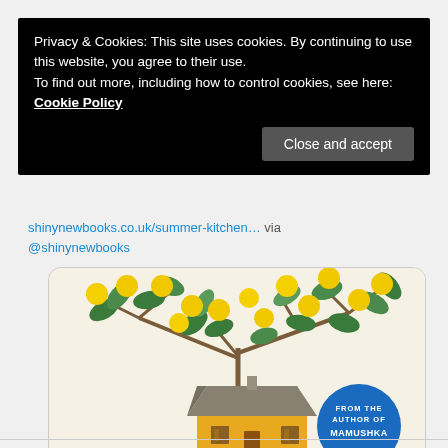Privacy & Cookies: This site uses cookies. By continuing to use this website, you agree to their use.
To find out more, including how to control cookies, see here: Cookie Policy
Close and accept
shinynewbooks.co.uk/summer-kitchen… via @shinynewbooks
[Figure (illustration): Book cover for 'Summer Kitchen' by Olia Hercules. Illustration of a yellow Ukrainian cottage with a thatched roof beneath branches with large yellow fruit and green leaves. Blue circular badge reads 'FROM THE AUTHOR OF MAMUSHKA'. Author name 'OLIA HERCULES' at bottom.]
3